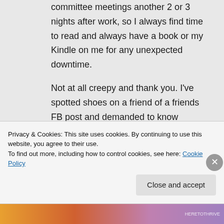committee meetings another 2 or 3 nights after work, so I always find time to read and always have a book or my Kindle on me for any unexpected downtime.
Not at all creepy and thank you. I've spotted shoes on a friend of a friends FB post and demanded to know where she bought them 'cause they were amazing.
★ Liked by 1 person
Privacy & Cookies: This site uses cookies. By continuing to use this website, you agree to their use. To find out more, including how to control cookies, see here: Cookie Policy
Close and accept